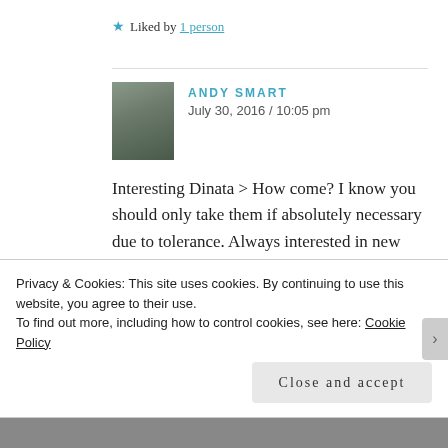★ Liked by 1 person
ANDY SMART
July 30, 2016 / 10:05 pm
Interesting Dinata > How come? I know you should only take them if absolutely necessary due to tolerance. Always interested in new info re medication
★ Like
Privacy & Cookies: This site uses cookies. By continuing to use this website, you agree to their use.
To find out more, including how to control cookies, see here: Cookie Policy
Close and accept